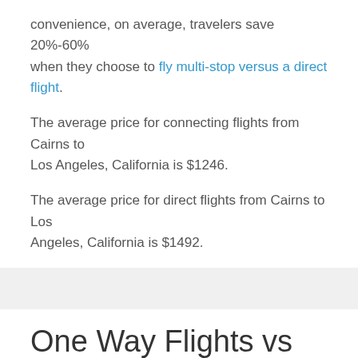convenience, on average, travelers save 20%-60% when they choose to fly multi-stop versus a direct flight.
The average price for connecting flights from Cairns to Los Angeles, California is $1246.
The average price for direct flights from Cairns to Los Angeles, California is $1492.
One Way Flights vs Round Trip Flights from Cairns to Los Angeles, California